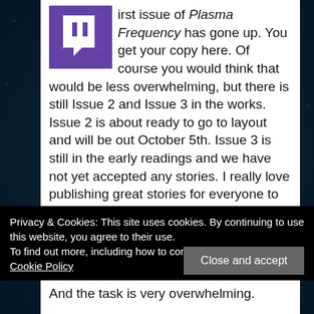irst issue of Plasma Frequency has gone up. You get your copy here. Of course you would think that would be less overwhelming, but there is still Issue 2 and Issue 3 in the works. Issue 2 is about ready to go to layout and will be out October 5th. Issue 3 is still in the early readings and we have not yet accepted any stories. I really love publishing great stories for everyone to read. I love sending the acceptance letters, seeing the new art work, and getting great books to read for reviews. But it is an overwhelming task to publish a bimonthly magazine. And the real issue is that I have been doing most all of it myself.
Privacy & Cookies: This site uses cookies. By continuing to use this website, you agree to their use.
To find out more, including how to control cookies, see here: Cookie Policy
And the task is very overwhelming.